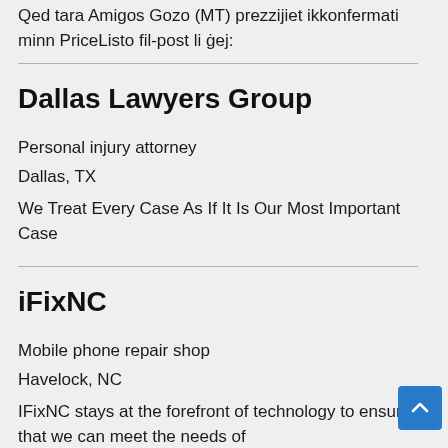Qed tara Amigos Gozo (MT) prezzijiet ikkonfermati minn PriceListo fil-post li ġej:
Dallas Lawyers Group
Personal injury attorney
Dallas, TX
We Treat Every Case As If It Is Our Most Important Case
iFixNC
Mobile phone repair shop
Havelock, NC
IFixNC stays at the forefront of technology to ensure that we can meet the needs of